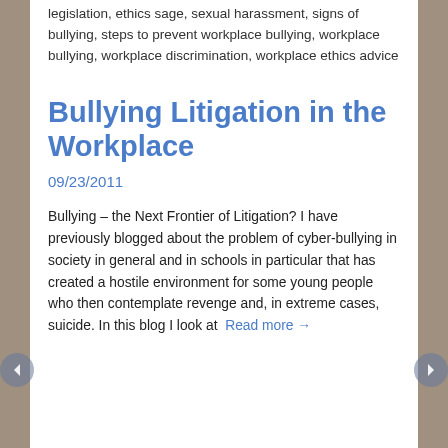legislation, ethics sage, sexual harassment, signs of bullying, steps to prevent workplace bullying, workplace bullying, workplace discrimination, workplace ethics advice
Bullying Litigation in the Workplace
09/23/2011
Bullying – the Next Frontier of Litigation? I have previously blogged about the problem of cyber-bullying in society in general and in schools in particular that has created a hostile environment for some young people who then contemplate revenge and, in extreme cases, suicide. In this blog I look at  Read more →